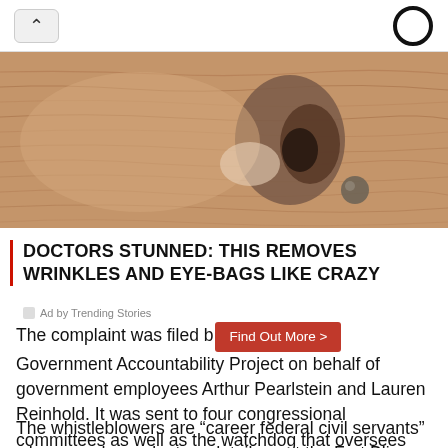^  [icon]
[Figure (photo): Close-up photo of aged skin near an eye, showing wrinkles and texture detail]
DOCTORS STUNNED: THIS REMOVES WRINKLES AND EYE-BAGS LIKE CRAZY
Ad by Trending Stories
The complaint was filed by the nonprofit Government Accountability Project on behalf of government employees Arthur Pearlstein and Lauren Reinhold. It was sent to four congressional committees as well as the watchdog that oversees HHS.
The whistleblowers are "career federal civil servants" who served as volunteer detailees at the Fort Bliss Emergency